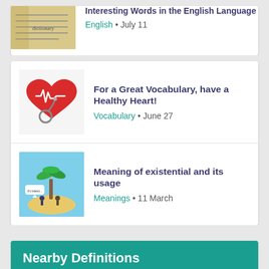Interesting Words in the English Language — English • July 11
For a Great Vocabulary, have a Healthy Heart! — Vocabulary • June 27
Meaning of existential and its usage — Meanings • 11 March
Nearby Definitions
enragement
enrichment